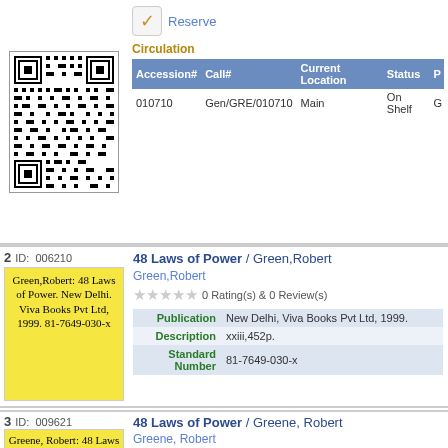[Figure (other): QR code for book record 010710]
Reserve
Circulation
| Accession# | Call# | Current Location | Status | P |
| --- | --- | --- | --- | --- |
| 010710 | Gen/GRE/010710 | Main | On Shelf | G |
2   ID: 006210
[Figure (other): Book label: Green,Robert: 48 Laws of Power. New Delhi. Viva Books Pvt Ltd, 1999. 81-7649-030-x]
48 Laws of Power / Green,Robert
Green,Robert
0 Rating(s) & 0 Review(s)
| Publication | Description | Standard Number |
| --- | --- | --- |
| New Delhi, Viva Books Pvt Ltd, 1999. | xxiii,452p. | 81-7649-030-x |
[Figure (other): QR code for book record 005382]
Reserve
Circulation
| Accession# | Call# | Current Location | Status |
| --- | --- | --- | --- |
| 005382 | GEN/GRE/005382 | Main | On Shelf |
3   ID: 009621
48 Laws of Power / Greene, Robert
Greene, Robert
0 Rating(s) & 0 Review(s)